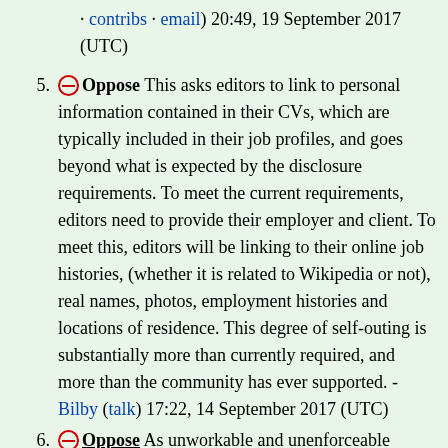· contribs · email) 20:49, 19 September 2017 (UTC)
5. [Oppose icon] Oppose This asks editors to link to personal information contained in their CVs, which are typically included in their job profiles, and goes beyond what is expected by the disclosure requirements. To meet the current requirements, editors need to provide their employer and client. To meet this, editors will be linking to their online job histories, (whether it is related to Wikipedia or not), real names, photos, employment histories and locations of residence. This degree of self-outing is substantially more than currently required, and more than the community has ever supported. - Bilby (talk) 17:22, 14 September 2017 (UTC)
6. [Oppose icon] Oppose As unworkable and unenforceable...